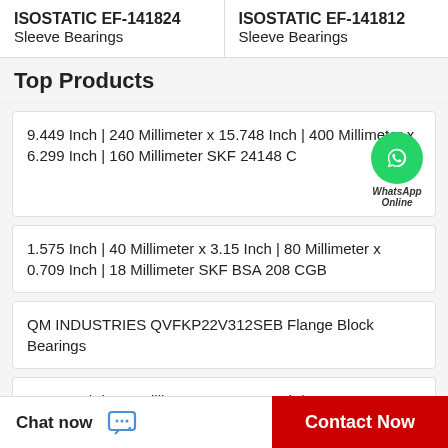ISOSTATIC EF-141824 Sleeve Bearings
ISOSTATIC EF-141812 Sleeve Bearings
Top Products
9.449 Inch | 240 Millimeter x 15.748 Inch | 400 Millimeter x 6.299 Inch | 160 Millimeter SKF 24148 C
1.575 Inch | 40 Millimeter x 3.15 Inch | 80 Millimeter x 0.709 Inch | 18 Millimeter SKF BSA 208 CGB
QM INDUSTRIES QVFKP22V312SEB Flange Block Bearings
9.449 Inch | 240 Millimeter x 12.598 Inch | 320
Chat now
Contact Now